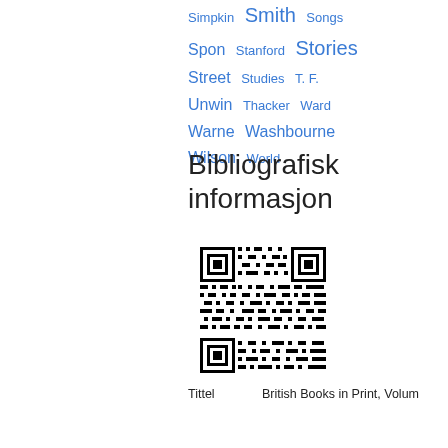Simpkin  Smith  Songs
Spon  Stanford  Stories
Street  Studies  T. F.
Unwin  Thacker  Ward
Warne  Washbourne
Wilson  World
Bibliografisk informasjon
[Figure (other): QR code for bibliographic information]
| Tittel | British Books in Print, Volum |